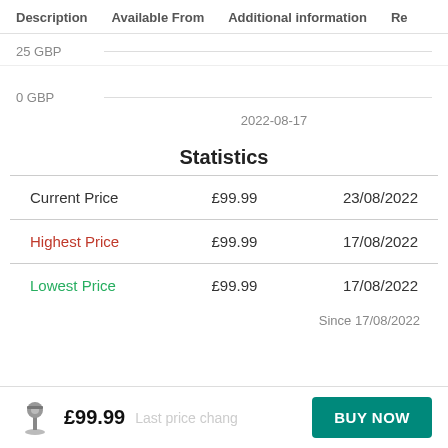Description   Available From   Additional information   Re
25 GBP
0 GBP
2022-08-17
Statistics
|  |  |  |
| --- | --- | --- |
| Current Price | £99.99 | 23/08/2022 |
| Highest Price | £99.99 | 17/08/2022 |
| Lowest Price | £99.99 | 17/08/2022 |
Since 17/08/2022
£99.99
Last price chang...
BUY NOW